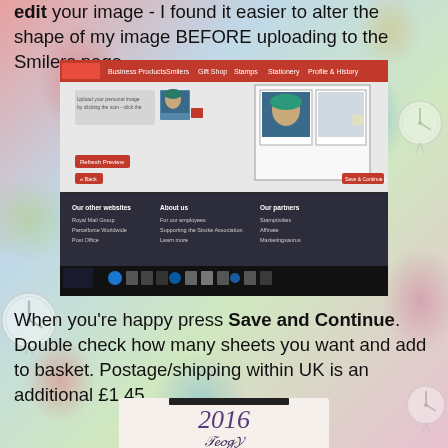edit your image - I found it easier to alter the shape of my image BEFORE uploading to the Smilers page.
[Figure (screenshot): Screenshot of the Royal Mail Smilers website showing an image upload interface with a custom stamp preview featuring illustrated portraits.]
When you're happy press Save and Continue. Double check how many sheets you want and add to basket. Postage/shipping within UK is an additional £1.45.
[Figure (photo): Partial photo of a printed item showing decorative script text reading '2016' with ornamental lettering below.]